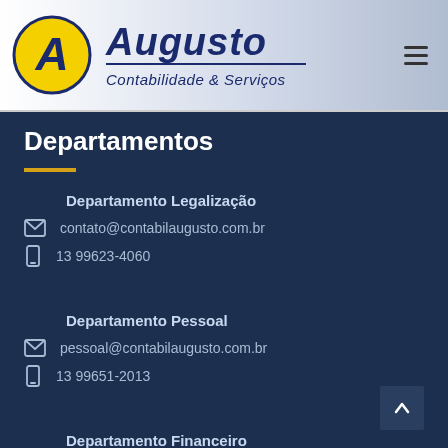Augusto Contabilidade & Serviços
Departamentos
Departamento Legalização
contato@contabilaugusto.com.br
13 99623-4060
Departamento Pessoal
pessoal@contabilaugusto.com.br
13 99651-2013
Departamento Financeiro
financeiro@contabilaugusto.com.br
13 99743-5420